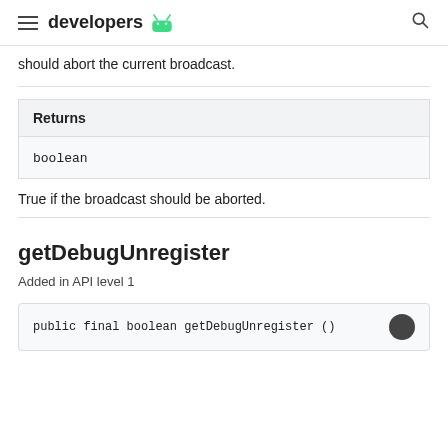developers [Android logo]
should abort the current broadcast.
| Returns |
| --- |
| boolean |
True if the broadcast should be aborted.
getDebugUnregister
Added in API level 1
public final boolean getDebugUnregister ()